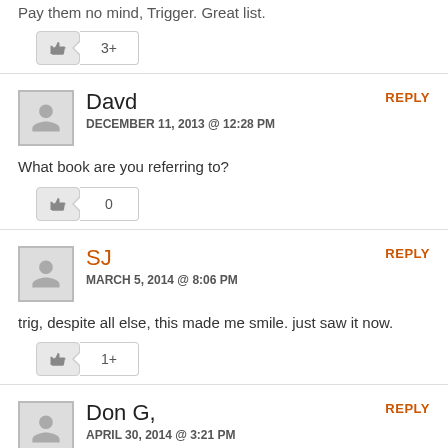Pay them no mind, Trigger. Great list.
3+
Davd
DECEMBER 11, 2013 @ 12:28 PM
REPLY
What book are you referring to?
0
SJ
MARCH 5, 2014 @ 8:06 PM
REPLY
trig, despite all else, this made me smile. just saw it now.
1+
Don G,
APRIL 30, 2014 @ 3:21 PM
REPLY
The Billy Ray meeting obviously took place after a 1992 concert I went to at the Saddleback in San Jose, CA, where Waylon told the following story (slightly paraphrased, of course, as it's been 22